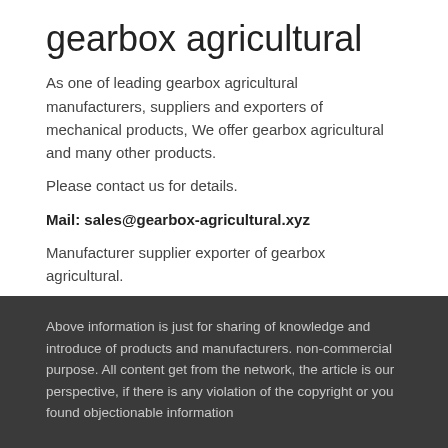gearbox agricultural
As one of leading gearbox agricultural manufacturers, suppliers and exporters of mechanical products, We offer gearbox agricultural and many other products.
Please contact us for details.
Mail: sales@gearbox-agricultural.xyz
Manufacturer supplier exporter of gearbox agricultural.
Above information is just for sharing of knowledge and introduce of products and manufacturers. non-commercial purpose. All content get from the network, the article is our perspective, if there is any violation of the copyright or you found objectionable information